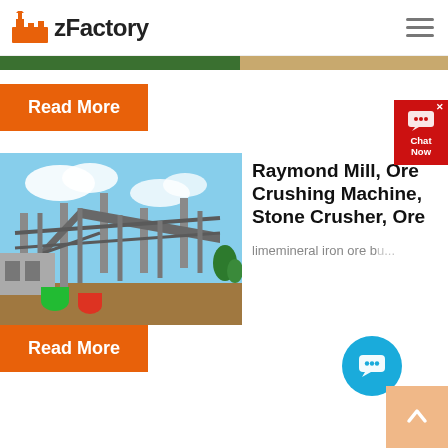zFactory
[Figure (photo): Thin horizontal strip showing green and beige/tan colors, partial view of an outdoor industrial scene]
Read More
[Figure (photo): Industrial mining/crushing machinery with metal conveyors and structures against a blue sky with clouds]
Raymond Mill, Ore Crushing Machine, Stone Crusher, Ore
limemineral iron ore b u...
Read More